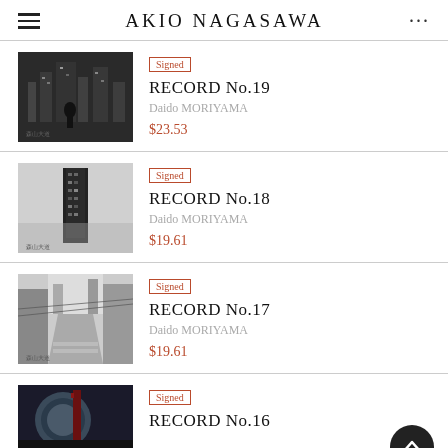AKIO NAGASAWA
[Figure (photo): Black and white photo of a person in a city at night, book cover for RECORD No.19]
Signed
RECORD No.19
Daido MORIYAMA
$23.53
[Figure (photo): Black and white photo of a tall tower building, book cover for RECORD No.18]
Signed
RECORD No.18
Daido MORIYAMA
$19.61
[Figure (photo): Black and white photo of a city street, book cover for RECORD No.17]
Signed
RECORD No.17
Daido MORIYAMA
$19.61
[Figure (photo): Partial view of a book cover for RECORD No.16, dark tones]
Signed
RECORD No.16